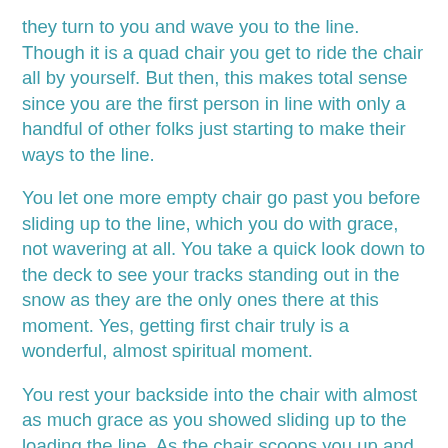they turn to you and wave you to the line. Though it is a quad chair you get to ride the chair all by yourself. But then, this makes total sense since you are the first person in line with only a handful of other folks just starting to make their ways to the line.
You let one more empty chair go past you before sliding up to the line, which you do with grace, not wavering at all. You take a quick look down to the deck to see your tracks standing out in the snow as they are the only ones there at this moment. Yes, getting first chair truly is a wonderful, almost spiritual moment.
You rest your backside into the chair with almost as much grace as you showed sliding up to the loading the line. As the chair scoops you up and you begin your journey to the top, the slight breeze coming off the mountain hit you right in